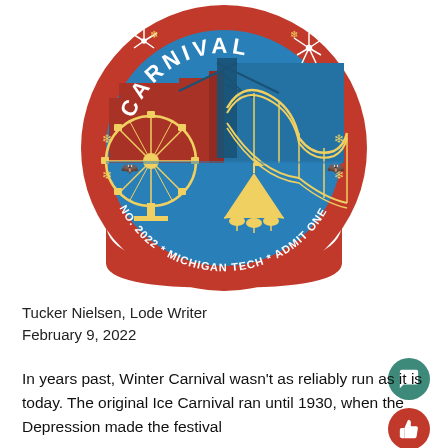[Figure (illustration): Circular Michigan Tech Winter Carnival 2022 logo badge. Red outer ring with text 'NO. 2022 * MICHIGAN TECH * ADMIT ONE' along the bottom. Blue and red circular interior showing carnival scenes: Ferris wheel on lower left, roller coaster in center-right, fireworks, bats, snowflakes on outer ring, and a carousel/merry-go-round in the lower center. Word 'CARNIVAL' in white at the top arc inside the badge.]
Tucker Nielsen, Lode Writer
February 9, 2022
In years past, Winter Carnival wasn't as reliably run as it is today. The original Ice Carnival ran until 1930, when the Depression made the festival